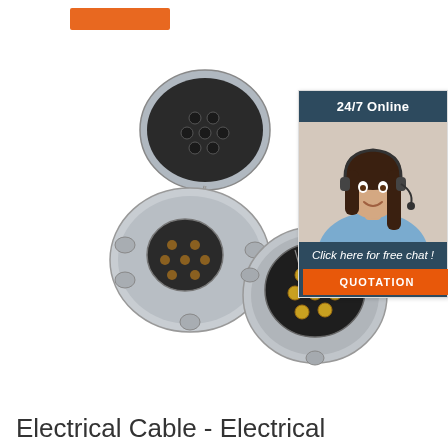[Figure (logo): Orange rectangular bar / logo placeholder at top left]
[Figure (photo): Two metallic electrical trailer connector sockets - one with open lid showing pin arrangement, one open from top showing terminal connections with gold screw terminals]
[Figure (photo): Customer service chat widget: dark blue header reading '24/7 Online', photo of smiling woman with headset, italic text 'Click here for free chat !', orange QUOTATION button]
Electrical Cable - Electrical